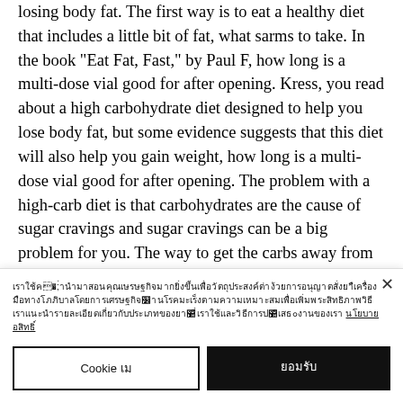losing body fat. The first way is to eat a healthy diet that includes a little bit of fat, what sarms to take. In the book "Eat Fat, Fast," by Paul F, how long is a multi-dose vial good for after opening. Kress, you read about a high carbohydrate diet designed to help you lose body fat, but some evidence suggests that this diet will also help you gain weight, how long is a multi-dose vial good for after opening. The problem with a high-carb diet is that carbohydrates are the cause of sugar cravings and sugar cravings can be a big problem for you. The way to get the carbs away from your brain is to limit how often you eat them. The best way to do this is
Cookie banner with Thai text and close button, Cookie settings button and accept button